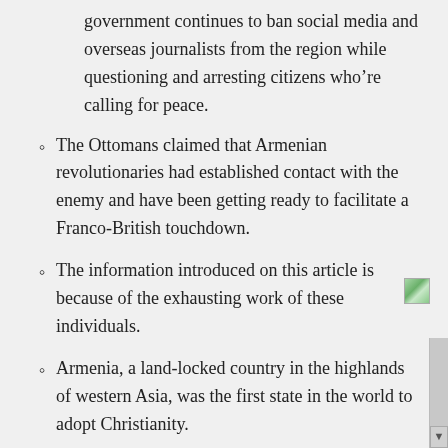government continues to ban social media and overseas journalists from the region while questioning and arresting citizens who’re calling for peace.
The Ottomans claimed that Armenian revolutionaries had established contact with the enemy and have been getting ready to facilitate a Franco-British touchdown.
The information introduced on this article is because of the exhausting work of these individuals.
Armenia, a land-locked country in the highlands of western Asia, was the first state in the world to adopt Christianity.
The couple chose the Santa Susana venue after their wedding was postponed from 2020. “We also determined to go with this venue because it’s outdoors and was a safer choice,” she says. It is tradition for the couple to remain on the marriage ceremony till their last guest departs the reception. “In Armenian weddings,